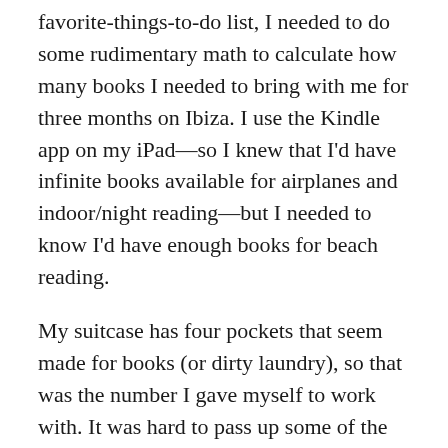favorite-things-to-do list, I needed to do some rudimentary math to calculate how many books I needed to bring with me for three months on Ibiza. I use the Kindle app on my iPad—so I knew that I'd have infinite books available for airplanes and indoor/night reading—but I needed to know I'd have enough books for beach reading.
My suitcase has four pockets that seem made for books (or dirty laundry), so that was the number I gave myself to work with. It was hard to pass up some of the unread titles already on my shelf—The House of Sand and Fog, Just Kids, Sister Water—but after an absurd amount of toiling I hammered out my summer reading list.
I started with Beautiful Ruins, a story that I...